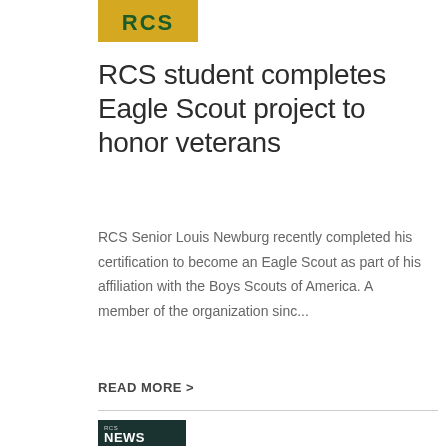[Figure (logo): RCS logo on gold/yellow background with green letters]
RCS student completes Eagle Scout project to honor veterans
RCS Senior Louis Newburg recently completed his certification to become an Eagle Scout as part of his affiliation with the Boys Scouts of America. A member of the organization sinc...
READ MORE >
[Figure (logo): RCS NEWS logo on dark green background with white text]